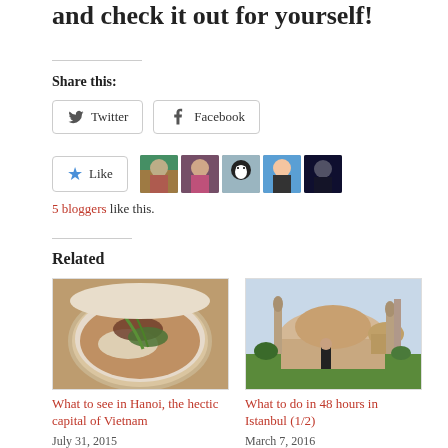and check it out for yourself!
Share this:
Twitter  Facebook
[Figure (other): Like button with star icon and 5 blogger avatars]
5 bloggers like this.
Related
[Figure (photo): Bowl of pho soup with beef and herbs - Hanoi food]
What to see in Hanoi, the hectic capital of Vietnam
July 31, 2015
In "Asia"
[Figure (photo): Woman standing in front of Hagia Sophia in Istanbul]
What to do in 48 hours in Istanbul (1/2)
March 7, 2016
In "Europe"